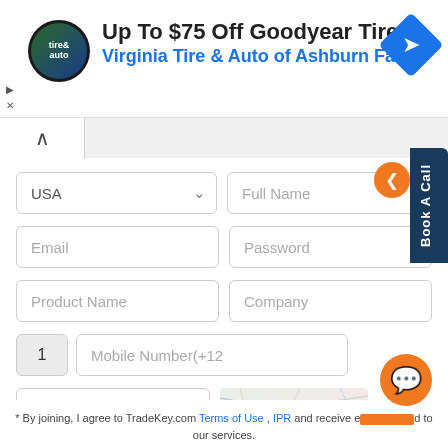[Figure (screenshot): Advertisement banner for Virginia Tire & Auto of Ashburn Farms showing logo, title 'Up To $75 Off Goodyear Tires', subtitle, and navigation icon]
[Figure (screenshot): Web registration form with fields: USA dropdown, Full Name, Email, Password, Product Name, Company, Mobile Number with country code 1, Enter the Code captcha field with captcha image and refresh button]
* By joining, I agree to TradeKey.com Terms of Use , IPR and receive emails related to our services.